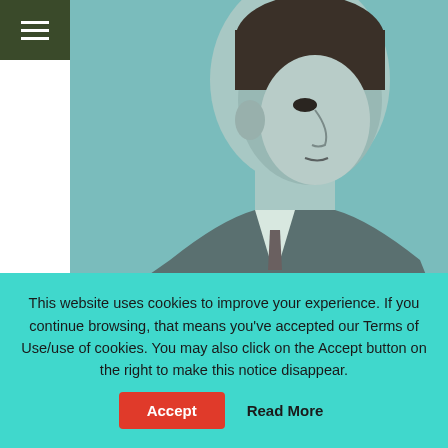[Figure (photo): Black and white vintage portrait of a young man in side profile view, wearing a suit and tie, teal-tinted photo]
Tragic gay star
[Figure (photo): Black and white vintage photo of a woman in a hat and a man facing each other, teal-tinted, partially visible]
This website uses cookies to improve your experience. If you continue browsing, that means you've accepted our Terms of Use/use of cookies. You may also click on the Accept button on the right to make this notice disappear.